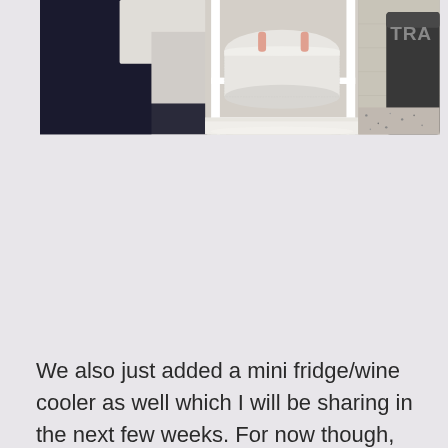[Figure (photo): Indoor bedroom scene showing a white wooden nightstand/shelf unit with a white mesh/wicker basket on the shelf. On the left is dark bedding, and on the right is a partially visible dark bucket/container with 'TRA' text visible. The floor has a light shaggy rug.]
We also just added a mini fridge/wine cooler as well which I will be sharing in the next few weeks. For now though, this is our bedroom make-over! I am so happy with how it turned out and feel like it really made our house more homey!
Xoxo